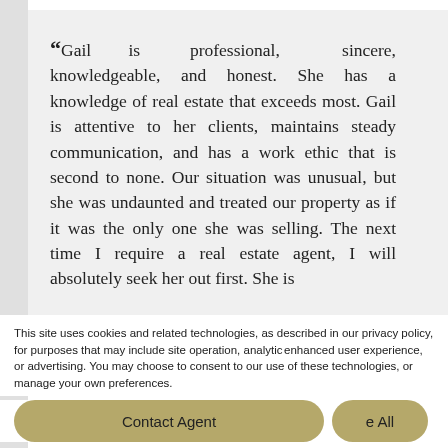“Gail is professional, sincere, knowledgeable, and honest. She has a knowledge of real estate that exceeds most. Gail is attentive to her clients, maintains steady communication, and has a work ethic that is second to none. Our situation was unusual, but she was undaunted and treated our property as if it was the only one she was selling. The next time I require a real estate agent, I will absolutely seek her out first. She is
This site uses cookies and related technologies, as described in our privacy policy, for purposes that may include site operation, analytics, enhanced user experience, or advertising. You may choose to consent to our use of these technologies, or manage your own preferences.
Contact Agent
e All